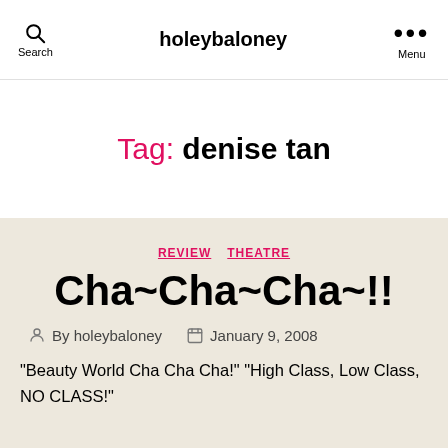Search  holeybaloney  Menu
Tag: denise tan
REVIEW  THEATRE
Cha~Cha~Cha~!!
By holeybaloney  January 9, 2008
“Beauty World Cha Cha Cha!” “High Class, Low Class, NO CLASS!”